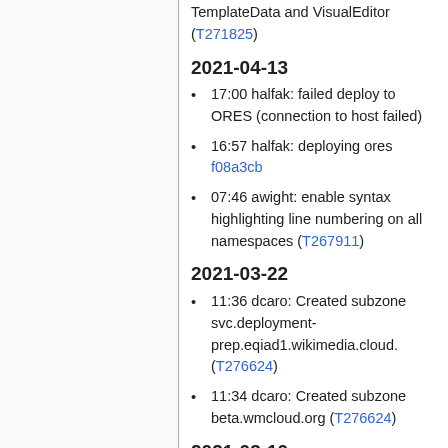TemplateData and VisualEditor (T271825)
2021-04-13
17:00 halfak: failed deploy to ORES (connection to host failed)
16:57 halfak: deploying ores f08a3cb
07:46 awight: enable syntax highlighting line numbering on all namespaces (T267911)
2021-03-22
11:36 dcaro: Created subzone svc.deployment-prep.eqiad1.wikimedia.cloud. (T276624)
11:34 dcaro: Created subzone beta.wmcloud.org (T276624)
2021-03-10